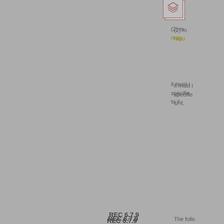[Figure (illustration): Icon box with layered/stack symbol (dark red outline) at top center-right area]
(2) m regu
it must i specifie to it.
REC 6.7.9
[Figure (illustration): Box with letter R inside (dark red outline)]
01/04/2013
[Figure (illustration): Icon box with layered/stack symbol with down arrow (dark red outline)]
The follo
(1) p revo relat
(2) a in ca
(3) th temp it wil
(4) a